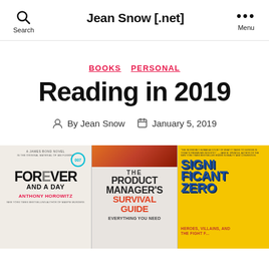Search  Jean Snow [.net]  Menu
BOOKS  PERSONAL
Reading in 2019
By Jean Snow  January 5, 2019
[Figure (photo): Three book covers side by side: 'Forever and a Day' by Anthony Horowitz (James Bond 007 novel), 'The Product Manager's Survival Guide', and 'Significant Zero: Heroes, Villains, and the Fight...']